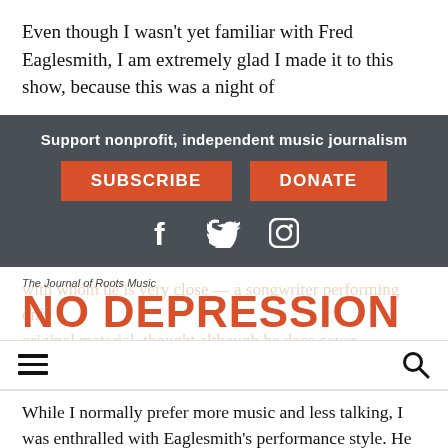Even though I wasn't yet familiar with Fred Eaglesmith, I am extremely glad I made it to this show, because this was a night of
[Figure (infographic): Dark gray subscription banner with text 'Support nonprofit, independent music journalism', two orange buttons labeled 'SUBSCRIBE' and 'DONATE', and social media icons for Facebook, Twitter, and Instagram]
[Figure (logo): No Depression - The Journal of Roots Music logo with red bold text on white background, with faded article text visible behind it]
[Figure (infographic): Navigation bar with hamburger menu icon on left and search icon on right]
While I normally prefer more music and less talking, I was enthralled with Eaglesmith's performance style. He played more than he talked, but the interludes between songs were filled with stories about traveling, his band's antique school bus they've painted dark pink, and politics.
Opening the show was the Tif Ginn Band — Ginn on accordion,